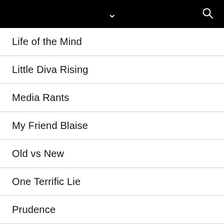Navigation menu with chevron and search icon
Life of the Mind
Little Diva Rising
Media Rants
My Friend Blaise
Old vs New
One Terrific Lie
Prudence
Reviews
Ruminations